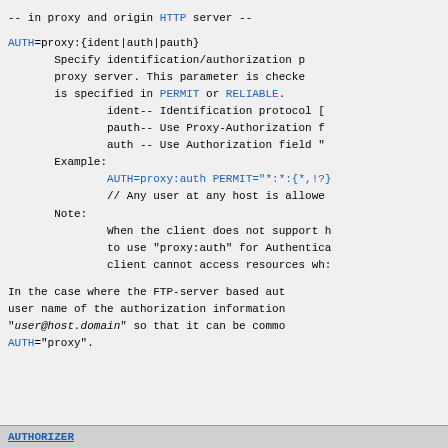-- in proxy and origin HTTP server --
AUTH=proxy:{ident|auth|pauth}
        Specify identification/authorization p
        proxy server. This parameter is checke
        is specified in PERMIT or RELIABLE.
                ident-- Identification protocol [
                pauth-- Use Proxy-Authorization f
                auth -- Use Authorization field "
        Example:
                AUTH=proxy:auth PERMIT="*:*:{*,!?}
                // Any user at any host is allowe
        Note:
                When the client does not support h
                to use "proxy:auth" for Authentica
                client cannot access resources wh:
In the case where the FTP-server based aut user name of the authorization information "user@host.domain" so that it can be commo AUTH="proxy".
AUTHORIZER